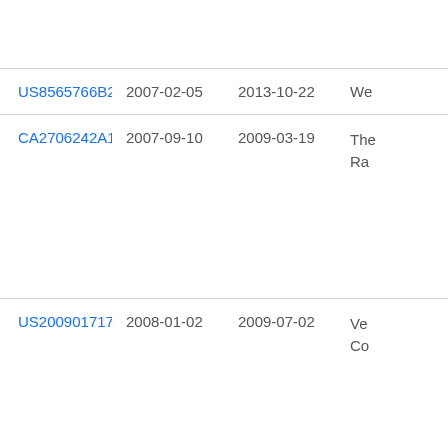| Patent | Filed | Published | Title (truncated) |
| --- | --- | --- | --- |
| US8565766B2 | 2007-02-05 | 2013-10-22 | We... |
| CA2706242A1 * | 2007-09-10 | 2009-03-19 | The... Ra... |
| US20090171718A1 * | 2008-01-02 | 2009-07-02 | Ve... Co... |
| US20100157841A1 | 2008-12-18 | 2010-06-24 | Sa... |